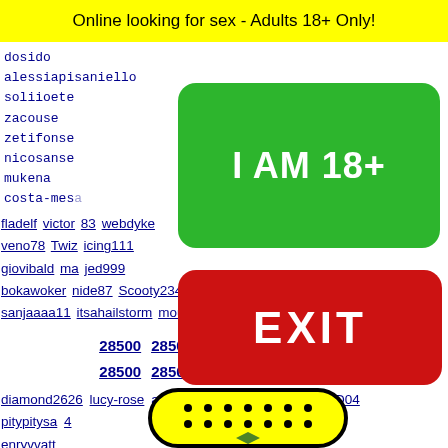Online looking for sex - Adults 18+ Only!
dosido
alessiapisaniello
soliioete
zacouse
zetifonse
nicosanse
mukena
costa-mesa
[Figure (other): Green button with text 'I AM 18+']
[Figure (other): Red button with text 'EXIT']
fladelf victor 83 webdyke veno78 Twiz icing111 giovibald ma jed999 bokawoker nide87 Scooty2345 nachopumaquiles cooper37 sanjaaaa11 itsahailstorm mouneshdani
28500 28501 28502 28503 28504
28500 28501 28502 28503 28504
diamond2626 lucy-rose ash2690 baby_girl1975 11RED04 pitypitysa 4 enryvvatt akalanka na039 kilianelru
[Figure (illustration): Yellow smiley face character with black dots and bow tie, bottom of page]